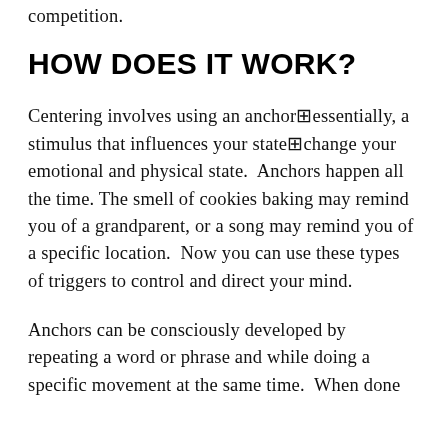competition.
HOW DOES IT WORK?
Centering involves using an anchor□essentially, a stimulus that influences your state□change your emotional and physical state.  Anchors happen all the time. The smell of cookies baking may remind you of a grandparent, or a song may remind you of a specific location.  Now you can use these types of triggers to control and direct your mind.
Anchors can be consciously developed by repeating a word or phrase and while doing a specific movement at the same time.  When done